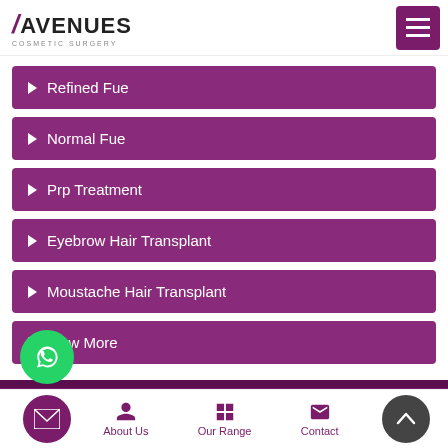[Figure (logo): Avenues Cosmetic Surgery logo with hamburger menu]
Refined Fue
Normal Fue
Prp Treatment
Eyebrow Hair Transplant
Moustache Hair Transplant
View More
Know Us More
Home | About Us | Our Range | Contact | Call Us